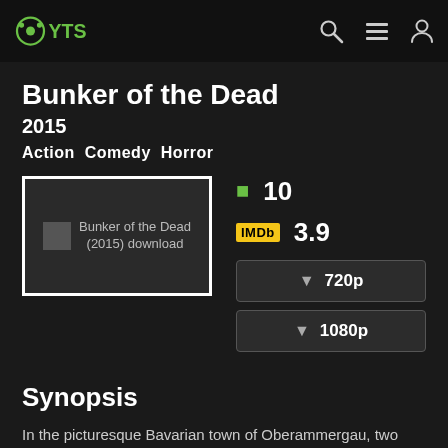YTS
Bunker of the Dead
2015
Action Comedy Horror
[Figure (other): Movie poster placeholder for Bunker of the Dead (2015) download]
10
IMDb 3.9
720p
1080p
Synopsis
In the picturesque Bavarian town of Oberammergau, two friends, Markus and Thomas, are using the instructions found in an old Jewish diary to gain access to a WW II underground military base formerly codenamed: CERUSIT. Used by the